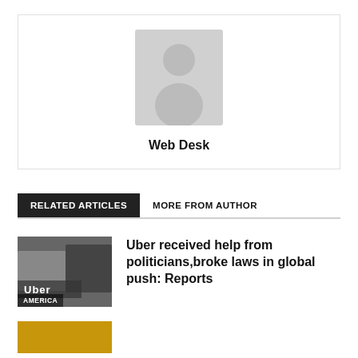[Figure (photo): Author avatar placeholder with generic person silhouette icon]
Web Desk
RELATED ARTICLES   MORE FROM AUTHOR
[Figure (photo): Uber vehicle photo with AMERICA label]
Uber received help from politicians,broke laws in global push: Reports
[Figure (photo): Partial thumbnail image at bottom, gold/yellow color]